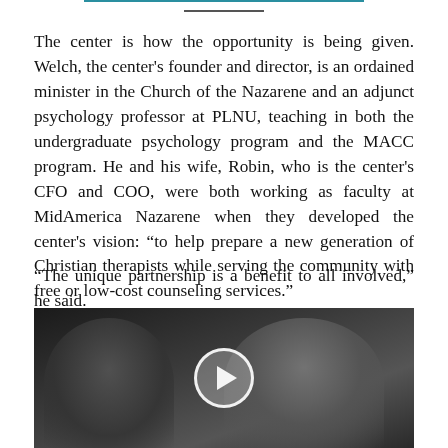The center is how the opportunity is being given. Welch, the center's founder and director, is an ordained minister in the Church of the Nazarene and an adjunct psychology professor at PLNU, teaching in both the undergraduate psychology program and the MACC program. He and his wife, Robin, who is the center's CFO and COO, were both working as faculty at MidAmerica Nazarene when they developed the center's vision: “to help prepare a new generation of Christian therapists while serving the community with free or low-cost counseling services.”
“The unique partnership is a benefit to all involved,” he said.
[Figure (photo): Video thumbnail showing two people (a man with glasses on the left and a woman with long hair on the right) in a bright indoor setting, with a circular play button overlay in the center.]